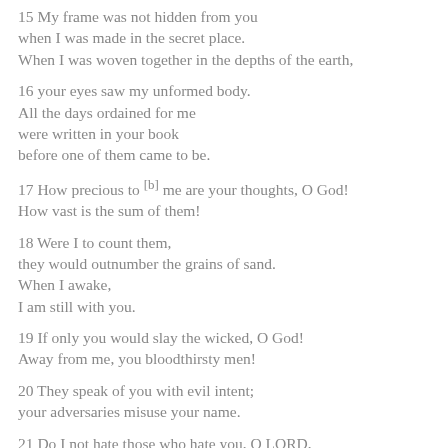15 My frame was not hidden from you when I was made in the secret place. When I was woven together in the depths of the earth,
16 your eyes saw my unformed body. All the days ordained for me were written in your book before one of them came to be.
17 How precious to [b] me are your thoughts, O God! How vast is the sum of them!
18 Were I to count them, they would outnumber the grains of sand. When I awake, I am still with you.
19 If only you would slay the wicked, O God! Away from me, you bloodthirsty men!
20 They speak of you with evil intent; your adversaries misuse your name.
21 Do I not hate those who hate you, O LORD,